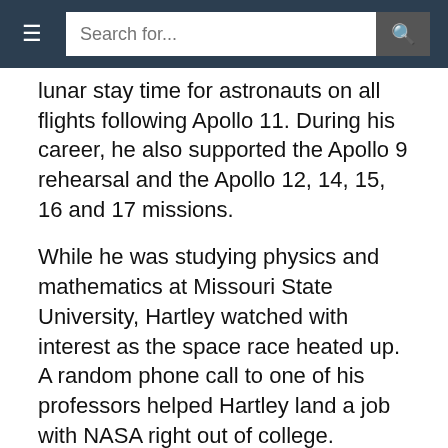≡  Search for...  🔍
lunar stay time for astronauts on all flights following Apollo 11. During his career, he also supported the Apollo 9 rehearsal and the Apollo 12, 14, 15, 16 and 17 missions.
While he was studying physics and mathematics at Missouri State University, Hartley watched with interest as the space race heated up. A random phone call to one of his professors helped Hartley land a job with NASA right out of college.
After leaving NASA, he had a distinguished career in the private sector, which included helping to determine the cause of the Challenger explosion and developing fixes which enabled Space Shuttle missions to continue.
He helped pioneer computer security techniques to protect NASA resources as the internet was emerging in the 1980s. As a result, he was honored by NASA with the